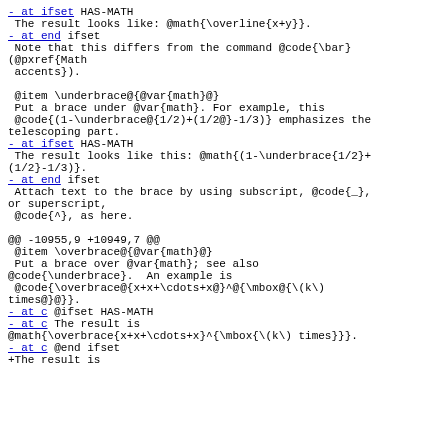- at ifset HAS-MATH
 The result looks like: @math{\overline{x+y}}.
- at end ifset
 Note that this differs from the command @code{\bar}
(@pxref{Math
 accents}).

 @item \underbrace@{@var{math}@}
 Put a brace under @var{math}. For example, this
 @code{(1-\underbrace@{1/2)+(1/2@}-1/3)} emphasizes the
telescoping part.
- at ifset HAS-MATH
 The result looks like this: @math{(1-\underbrace{1/2}+
(1/2}-1/3)}.
- at end ifset
 Attach text to the brace by using subscript, @code{_},
or superscript,
 @code{^}, as here.

@@ -10955,9 +10949,7 @@
 @item \overbrace@{@var{math}@}
 Put a brace over @var{math}; see also
@code{\underbrace}.  An example is
 @code{\overbrace@{x+x+\cdots+x@}^@{\mbox@{\(k\)
times@}@}}.
- at c @ifset HAS-MATH
- at c The result is
@math{\overbrace{x+x+\cdots+x}^{\mbox{\(k\) times}}}.
- at c @end ifset
+The result is
+The result is